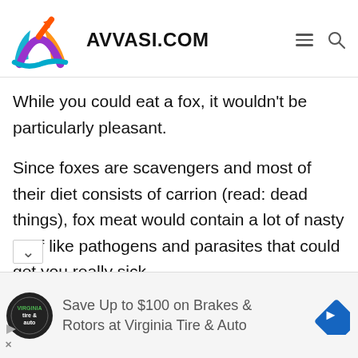[Figure (logo): Avvasi.com logo — colorful A-shaped arrow logo with orange, purple, and teal colors, followed by bold text AVVASI.COM with hamburger menu icon and search icon]
While you could eat a fox, it wouldn't be particularly pleasant.
Since foxes are scavengers and most of their diet consists of carrion (read: dead things), fox meat would contain a lot of nasty stuff like pathogens and parasites that could get you really sick.
[Figure (infographic): Advertisement banner: Save Up to $100 on Brakes & Rotors at Virginia Tire & Auto, with circular tire & auto logo on left and blue diamond direction sign icon on right]